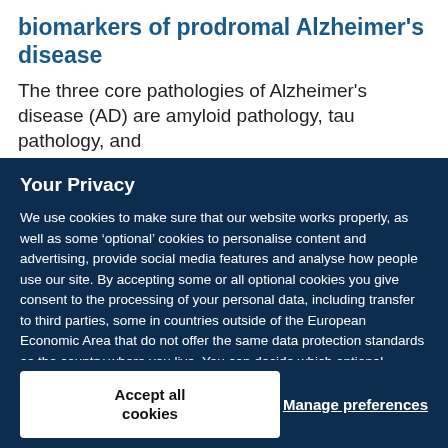biomarkers of prodromal Alzheimer's disease
The three core pathologies of Alzheimer's disease (AD) are amyloid pathology, tau pathology, and
Your Privacy
We use cookies to make sure that our website works properly, as well as some ‘optional’ cookies to personalise content and advertising, provide social media features and analyse how people use our site. By accepting some or all optional cookies you give consent to the processing of your personal data, including transfer to third parties, some in countries outside of the European Economic Area that do not offer the same data protection standards as the country where you live. You can decide which optional cookies to accept by clicking on ‘Manage Settings’, where you can also find more information about how your personal data is processed. Further information can be found in our privacy policy.
Accept all cookies
Manage preferences